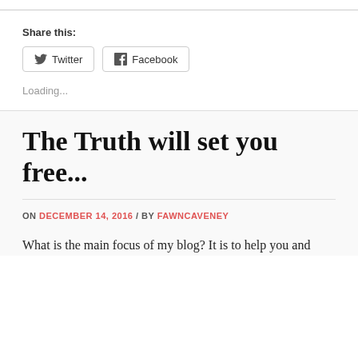Share this:
Twitter   Facebook
Loading...
The Truth will set you free...
ON DECEMBER 14, 2016 / BY FAWNCAVENEY
What is the main focus of my blog? It is to help you and